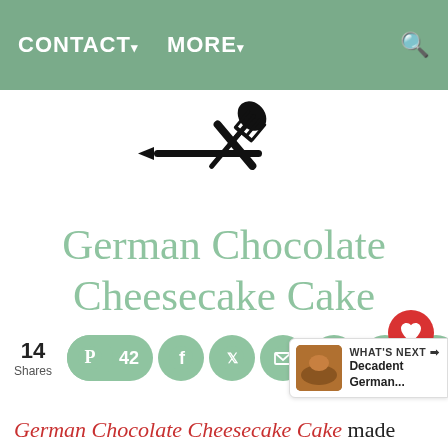CONTACT▾  MORE▾
[Figure (logo): Crossed fork and spoon silhouette logo in black]
German Chocolate Cheesecake Cake
14 Shares
42 (Pinterest shares)
WHAT'S NEXT → Decadent German...
German Chocolate Cheesecake Cake made